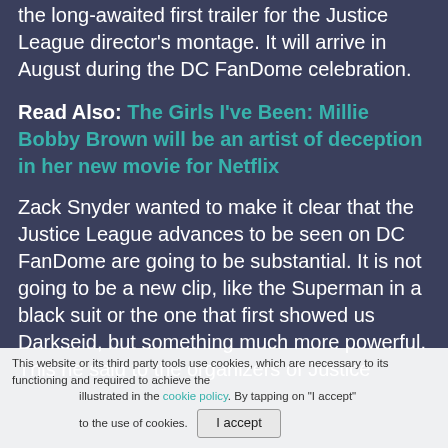the long-awaited first trailer for the Justice League director's montage. It will arrive in August during the DC FanDome celebration.
Read Also: The Girls I've Been: Millie Bobby Brown will be an artist of deception in her new movie for Netflix
Zack Snyder wanted to make it clear that the Justice League advances to be seen on DC FanDome are going to be substantial. It is not going to be a new clip, like the Superman in a black suit or the one that first showed us Darkseid, but something much more powerful. This he said to the organizers of Justice illustrated in the cookie policy. By tapping on "I accept" to the use of cookies.
This website or its third party tools use cookies, which are necessary to its functioning and required to achieve the illustrated in the cookie policy. By tapping on "I accept" to the use of cookies.